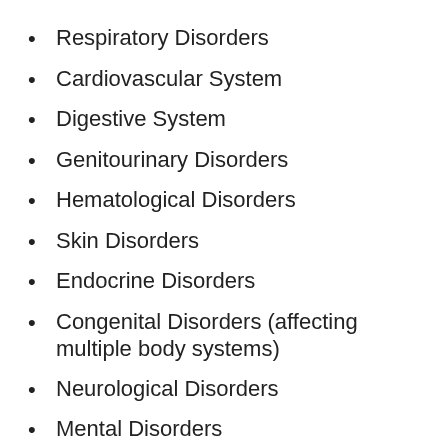Respiratory Disorders
Cardiovascular System
Digestive System
Genitourinary Disorders
Hematological Disorders
Skin Disorders
Endocrine Disorders
Congenital Disorders (affecting multiple body systems)
Neurological Disorders
Mental Disorders
Cancer